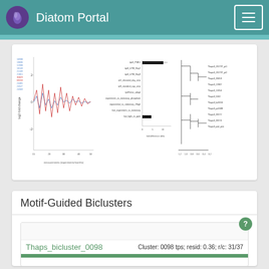Diatom Portal
[Figure (continuous-plot): Line chart showing log2-fold expression measurements over time (x-axis: measurements in experiments/months, range ~15-50), with multiple colored lines (red, blue, black)]
[Figure (other): Dot plot / forest plot showing gene expression comparison data with labeled conditions on y-axis and fold-difference on x-axis]
[Figure (other): Phylogenetic tree / dendrogram with gene labels on right side and scale bar at bottom]
Motif-Guided Biclusters
Thaps_bicluster_0098
Cluster: 0098 tps; resid: 0.36; r/c: 31/37